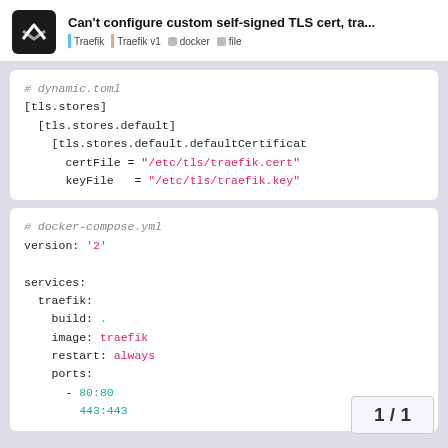Can't configure custom self-signed TLS cert, tra... | Traefik | Traefik v1 | docker | file
# dynamic.toml
[tls.stores]
  [tls.stores.default]
    [tls.stores.default.defaultCertificat
      certFile = "/etc/tls/traefik.cert"
      keyFile  = "/etc/tls/traefik.key"
# docker-compose.yml
version: '2'

services:
  traefik:
    build: .
    image: traefik
    restart: always
    ports:
      - 80:80
      - 443:443